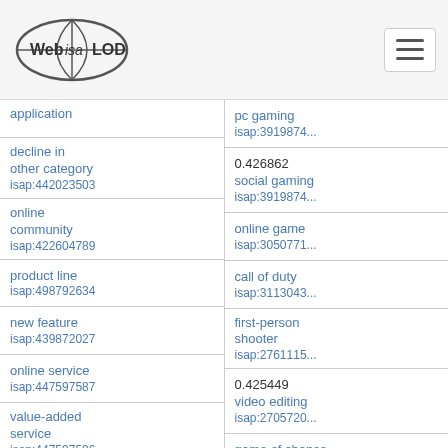Web ISA LOD
| Term | ID |
| --- | --- |
| application |  |
| decline in other category | isap:442023503 |
| online community | isap:422604789 |
| product line | isap:498792634 |
| new feature | isap:439872027 |
| online service | isap:447597587 |
| value-added service | isap:447597596 |
| various task | isap:498183521 |
| type of entertainment | isap:498145688 |
| Term | ID |
| --- | --- |
| pc gaming | isap:3919874... |
| 0.426862 |  |
| social gaming | isap:3919874... |
| online game | isap:3050771... |
| call of duty | isap:3113043... |
| first-person shooter | isap:2761115... |
| 0.425449 |  |
| video editing | isap:2705720... |
| game of chance | isap:3050771... |
| limited to | isap:1071737... |
| mmorpg | isap:3852860... |
| 0.424322 |  |
| problem solving | isap:2758175... |